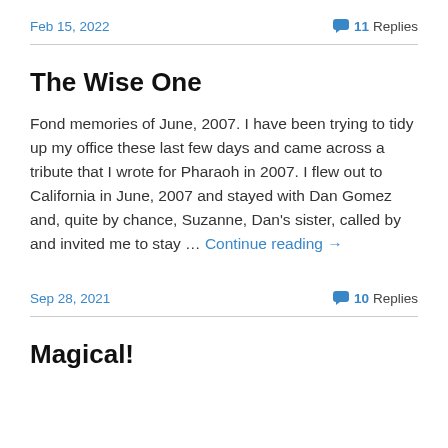Feb 15, 2022
11 Replies
The Wise One
Fond memories of June, 2007. I have been trying to tidy up my office these last few days and came across a tribute that I wrote for Pharaoh in 2007. I flew out to California in June, 2007 and stayed with Dan Gomez and, quite by chance, Suzanne, Dan's sister, called by and invited me to stay … Continue reading →
Sep 28, 2021
10 Replies
Magical!